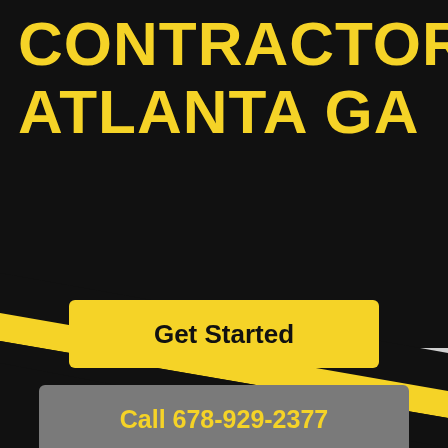CONTRACTOR ATLANTA GA
Get Started
Call 678-929-2377